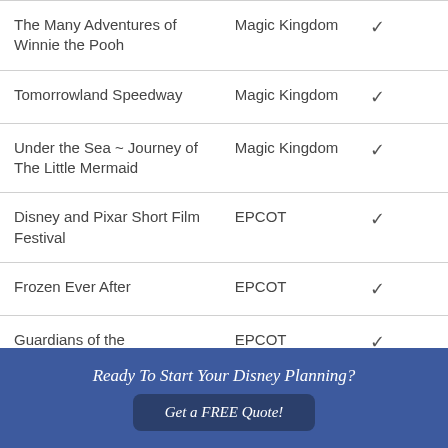| Attraction | Park | Included |
| --- | --- | --- |
| The Many Adventures of Winnie the Pooh | Magic Kingdom | ✓ |
| Tomorrowland Speedway | Magic Kingdom | ✓ |
| Under the Sea ~ Journey of The Little Mermaid | Magic Kingdom | ✓ |
| Disney and Pixar Short Film Festival | EPCOT | ✓ |
| Frozen Ever After | EPCOT | ✓ |
| Guardians of the | EPCOT | ✓ |
Ready To Start Your Disney Planning?
Get a FREE Quote!